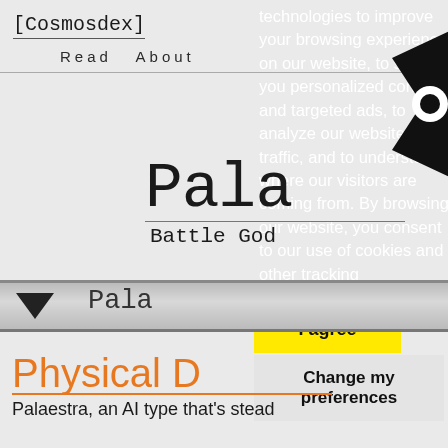[Cosmosdex]
Read About
Pala
Battle God
Pala
Physical D
Palaestra, an AI type that's stead
technologies to improve your browsing experience on our website, to show you personalized content and targeted ads, to analyze our website traffic, and to understand where our visitors are coming from. By browsing our website, you consent to our use of cookies and other tracking technologies.
I agree
Change my preferences